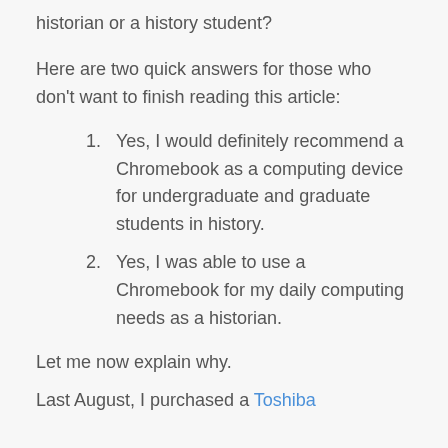historian or a history student?
Here are two quick answers for those who don't want to finish reading this article:
Yes, I would definitely recommend a Chromebook as a computing device for undergraduate and graduate students in history.
Yes, I was able to use a Chromebook for my daily computing needs as a historian.
Let me now explain why.
Last August, I purchased a Toshiba